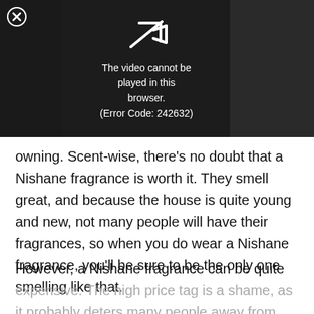[Figure (screenshot): Video player error screen with black background. A close button (circled X) is in the top-left. A broken video/play icon is centered at the top. Text reads: 'The video cannot be played in this browser. (Error Code: 242632)']
owning. Scent-wise, there's no doubt that a Nishane fragrance is worth it. They smell great, and because the house is quite young and new, not many people will have their fragrances, so when you do wear a Nishane fragrance, you'll be sure to be the only one smelling like that.
However, a Nishane fragrance can be quite expensive. The high price tag is a shame, as it probably deters many people away from the fantastic